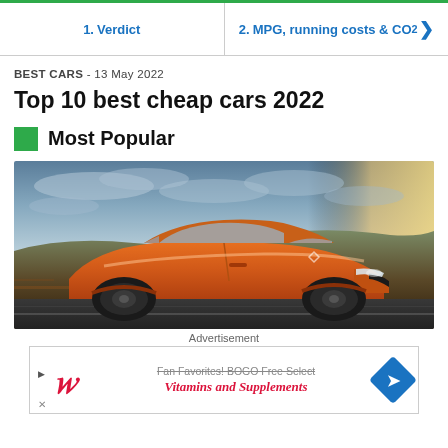1. Verdict | 2. MPG, running costs & CO2
BEST CARS  - 13 May 2022
Top 10 best cheap cars 2022
Most Popular
[Figure (photo): Orange Renault Captur SUV driving on a country road with dramatic cloudy sky in background]
Advertisement
[Figure (other): Walgreens advertisement: Fan Favorites! BOGO Free Select Vitamins and Supplements]